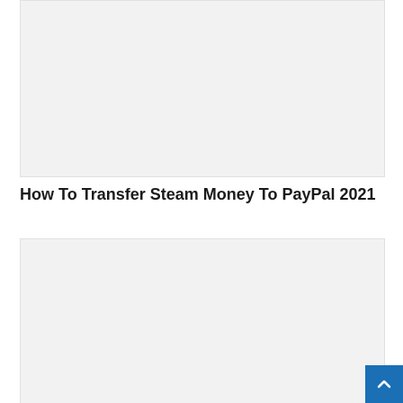[Figure (other): Gray placeholder image box at top of page]
How To Transfer Steam Money To PayPal 2021
[Figure (other): Gray placeholder image box below the title]